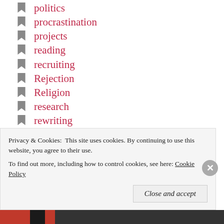politics
procrastination
projects
reading
recruiting
Rejection
Religion
research
rewriting
Salome's Charger
school
science
Privacy & Cookies: This site uses cookies. By continuing to use this website, you agree to their use.
To find out more, including how to control cookies, see here: Cookie Policy
Close and accept